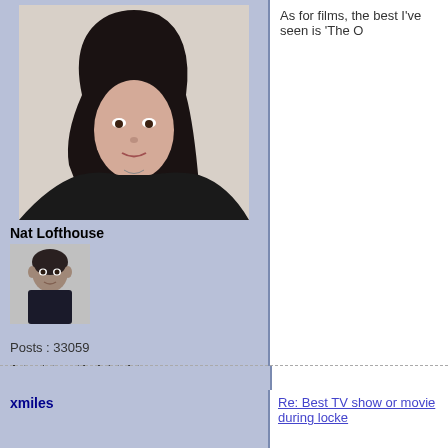[Figure (photo): Profile photo of a woman with long dark hair wearing a black outfit, selfie style]
Nat Lofthouse
[Figure (photo): Small avatar photo of a man in dark clothing]
Posts : 33059
Join date : 2012-01-04
Age : 38
As for films, the best I've seen is 'The O
xmiles
Re: Best TV show or movie during locke
Film - Joker

TV series - Mrs America, What We Do in
[Figure (photo): Small avatar photo of a jazz trumpet player performing, black and white]